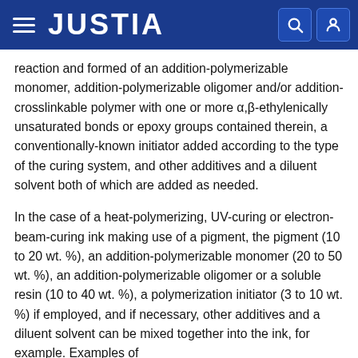JUSTIA
reaction and formed of an addition-polymerizable monomer, addition-polymerizable oligomer and/or addition-crosslinkable polymer with one or more α,β-ethylenically unsaturated bonds or epoxy groups contained therein, a conventionally-known initiator added according to the type of the curing system, and other additives and a diluent solvent both of which are added as needed.
In the case of a heat-polymerizing, UV-curing or electron-beam-curing ink making use of a pigment, the pigment (10 to 20 wt. %), an addition-polymerizable monomer (20 to 50 wt. %), an addition-polymerizable oligomer or a soluble resin (10 to 40 wt. %), a polymerization initiator (3 to 10 wt. %) if employed, and if necessary, other additives and a diluent solvent can be mixed together into the ink, for example. Examples of